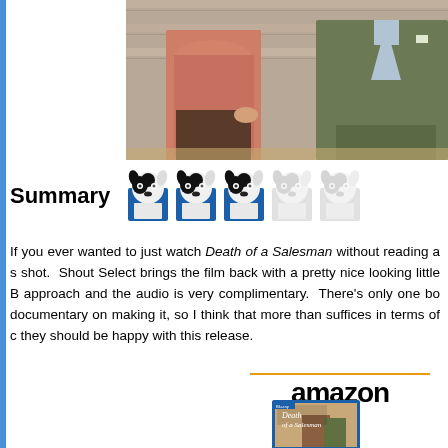[Figure (photo): Two people standing outdoors, one in a pink/rose shirt and one in a green vest/jacket, against a wooden wall background]
[Figure (other): 5-star rating shown as dog icons: 3 full color dog icons and 2 faded/greyed dog icons]
Summary
If you ever wanted to just watch Death of a Salesman without reading a shot. Shout Select brings the film back with a pretty nice looking little B approach and the audio is very complimentary. There's only one bo documentary on making it, so I think that more than suffices in terms of c they should be happy with this release.
[Figure (logo): Amazon logo with orange arrow underneath]
[Figure (photo): Blu-ray cover of Death of a Salesman]